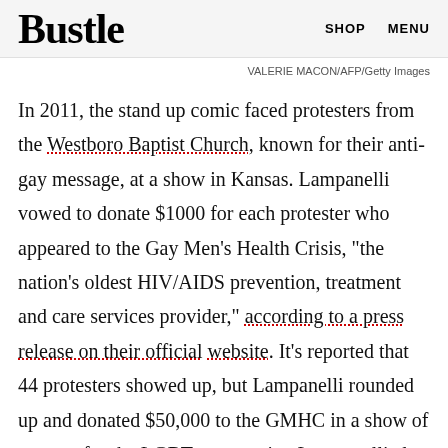Bustle   SHOP   MENU
VALERIE MACON/AFP/Getty Images
In 2011, the stand up comic faced protesters from the Westboro Baptist Church, known for their anti-gay message, at a show in Kansas. Lampanelli vowed to donate $1000 for each protester who appeared to the Gay Men's Health Crisis, "the nation's oldest HIV/AIDS prevention, treatment and care services provider," according to a press release on their official website. It's reported that 44 protesters showed up, but Lampanelli rounded up and donated $50,000 to the GMHC in a show of support for the LGBT community. Lampanelli also frequently gives